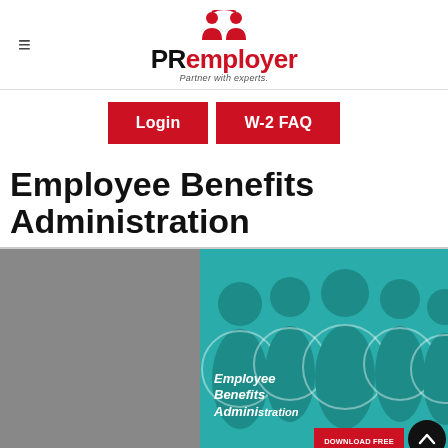[Figure (logo): PRemployer logo with icon of two people and tagline 'Partner with experts.']
[Figure (other): Two red buttons: Login and W-2 FAQ navigation buttons]
Employee Benefits Administration
[Figure (photo): Split image: left half gray panel, right half teal background with silhouetted group of people. Overlaid text reads 'Employee Benefits Administration' and a red 'DOWNLOAD FREE EBOOK' badge at bottom right.]